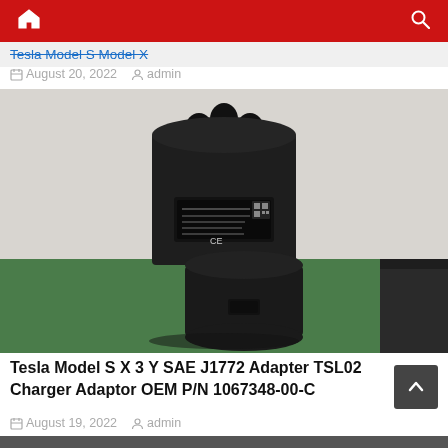Tesla Model S Model X
August 20, 2022  admin
[Figure (photo): Black Tesla SAE J1772 to Tesla charging adapter (TSL02), cylindrical shape with three prongs on top and a label on the body, placed on a green surface against a white textured wall.]
Tesla Model S X 3 Y SAE J1772 Adapter TSL02 Charger Adaptor OEM P/N 1067348-00-C
August 19, 2022  admin